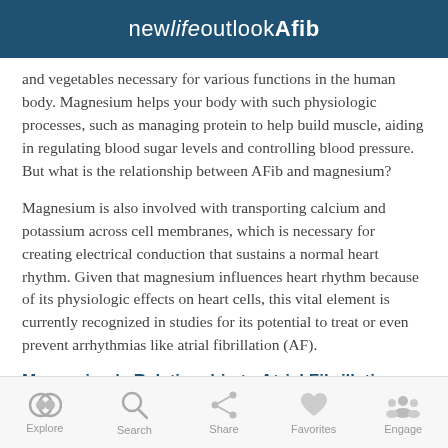newlifeoutlookAfib
and vegetables necessary for various functions in the human body. Magnesium helps your body with such physiologic processes, such as managing protein to help build muscle, aiding in regulating blood sugar levels and controlling blood pressure. But what is the relationship between AFib and magnesium?
Magnesium is also involved with transporting calcium and potassium across cell membranes, which is necessary for creating electrical conduction that sustains a normal heart rhythm. Given that magnesium influences heart rhythm because of its physiologic effects on heart cells, this vital element is currently recognized in studies for its potential to treat or even prevent arrhythmias like atrial fibrillation (AF).
Magnesium's Relationship to Atrial Fibrillation
Explore  Search  Share  Favorites  Engage